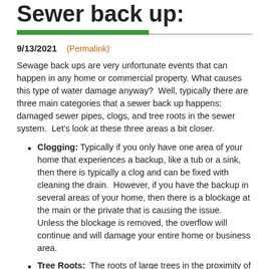Sewer back up:
9/13/2021 (Permalink)
Sewage back ups are very unfortunate events that can happen in any home or commercial property. What causes this type of water damage anyway?  Well, typically there are three main categories that a sewer back up happens: damaged sewer pipes, clogs, and tree roots in the sewer system.  Let's look at these three areas a bit closer.
Clogging: Typically if you only have one area of your home that experiences a backup, like a tub or a sink, then there is typically a clog and can be fixed with cleaning the drain.  However, if you have the backup in several areas of your home, then there is a blockage at the main or the private that is causing the issue.   Unless the blockage is removed, the overflow will continue and will damage your entire home or business area.
Tree Roots:  The roots of large trees in the proximity of a sewer line can often cause severe problems.  They can literally grow into the pipes and cause holes and blockages or they may wrap around the sewer